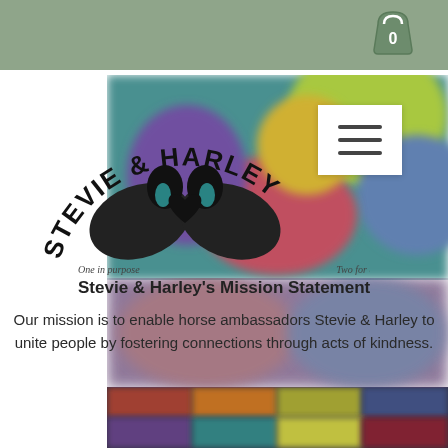[Figure (logo): Stevie & Harley logo with two horses forming a heart shape, text 'STEVIE & HARLEY' arched above, 'One in purpose' on left, 'Two for all' on right]
Stevie & Harley's Mission Statement
Our mission is to enable horse ambassadors Stevie & Harley to unite people by fostering connections through acts of kindness.
[Figure (photo): Blurred colorful photo grid at the bottom of the page]